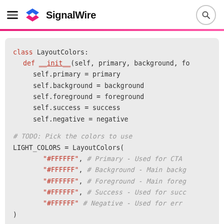SignalWire
class LayoutColors:
  def __init__(self, primary, background, fo
    self.primary = primary
    self.background = background
    self.foreground = foreground
    self.success = success
    self.negative = negative

# TODO: Pick the colors to use
LIGHT_COLORS = LayoutColors(
        "#FFFFFF", # Primary - Used for CTA
        "#FFFFFF", # Background - Main backg
        "#FFFFFF", # Foreground - Main foreg
        "#FFFFFF", # Success - Used for succ
        "#FFFFFF"  # Negative - Used for err
)